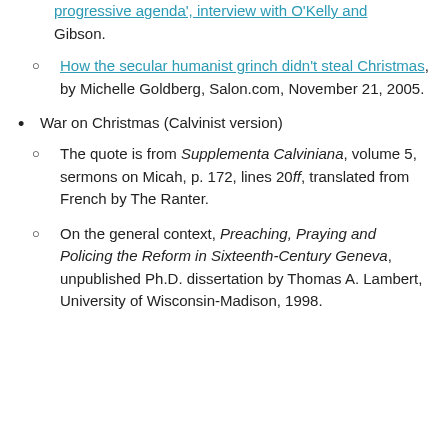progressive agenda', interview with O'Kelly and Gibson.
How the secular humanist grinch didn't steal Christmas, by Michelle Goldberg, Salon.com, November 21, 2005.
War on Christmas (Calvinist version)
The quote is from Supplementa Calviniana, volume 5, sermons on Micah, p. 172, lines 20ff, translated from French by The Ranter.
On the general context, Preaching, Praying and Policing the Reform in Sixteenth-Century Geneva, unpublished Ph.D. dissertation by Thomas A. Lambert, University of Wisconsin-Madison, 1998.